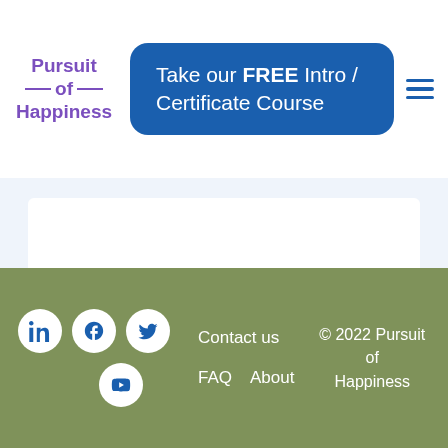[Figure (logo): Pursuit of Happiness logo with purple text and horizontal lines]
Take our FREE Intro / Certificate Course
[Figure (infographic): Blue/white content area placeholder]
Contact us  FAQ  About  © 2022 Pursuit of Happiness